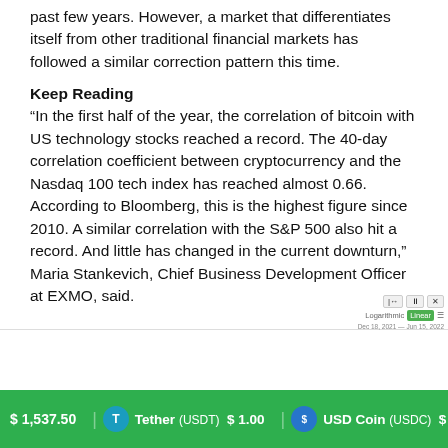past few years. However, a market that differentiates itself from other traditional financial markets has followed a similar correction pattern this time.
Keep Reading
“In the first half of the year, the correlation of bitcoin with US technology stocks reached a record. The 40-day correlation coefficient between cryptocurrency and the Nasdaq 100 tech index has reached almost 0.66. According to Bloomberg, this is the highest figure since 2010. A similar correlation with the S&P 500 also hit a record. And little has changed in the current downturn,” Maria Stankevich, Chief Business Development Officer at EXMO, said.
[Figure (other): Partial chart view with control buttons (logarithmic/linear toggle, date range controls). Date range shown: Dec 18, 2021 - Jun 15, 2022.]
$ 1,537.50   Tether (USDT) $ 1.00   USD Coin (USDC) $ 1.00